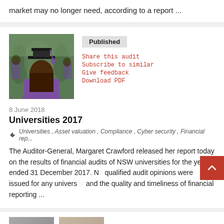market may no longer need, according to a report ...
[Figure (photo): Graduation photo showing a student from behind wearing a mortarboard cap, with other graduates in the background]
Published
Share this audit
Subscribe to similar
Give feedback
Download PDF
8 June 2018
Universities 2017
Universities , Asset valuation , Compliance , Cyber security , Financial rep...
The Auditor-General, Margaret Crawford released her report today on the results of financial audits of NSW universities for the year ended 31 December 2017. No qualified audit opinions were issued for any university and the quality and timeliness of financial reporting ...
[Figure (photo): Partial photo visible at bottom of page]